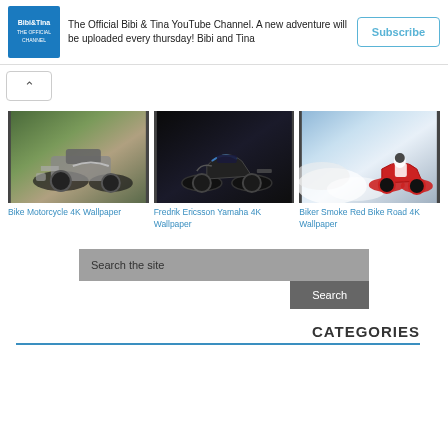[Figure (screenshot): Bibi & Tina YouTube channel banner with logo, description text, and Subscribe button]
The Official Bibi & Tina YouTube Channel. A new adventure will be uploaded every thursday! Bibi and Tina
[Figure (screenshot): Collapse/expand toggle button with upward chevron arrow]
[Figure (photo): Bike Motorcycle 4K Wallpaper - vintage motorcycle on mountain dirt road]
Bike Motorcycle 4K Wallpaper
[Figure (photo): Fredrik Ericsson Yamaha 4K Wallpaper - dark sport motorcycle in garage]
Fredrik Ericsson Yamaha 4K Wallpaper
[Figure (photo): Biker Smoke Red Bike Road 4K Wallpaper - rider on red bike with smoke]
Biker Smoke Red Bike Road 4K Wallpaper
Search the site
Search
CATEGORIES